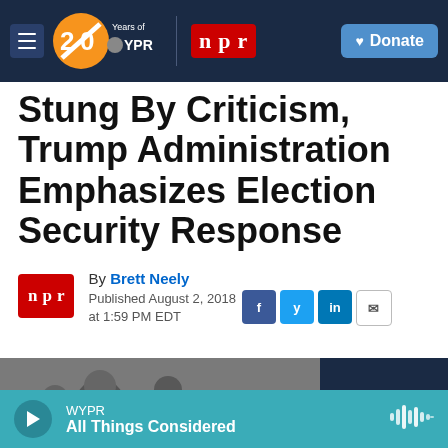WYPR 20 Years of WYPR | npr | Donate
Stung By Criticism, Trump Administration Emphasizes Election Security Response
By Brett Neely
Published August 2, 2018 at 1:59 PM EDT
[Figure (photo): Photo of people at a press conference or official event, partially visible at bottom of article]
WYPR
All Things Considered